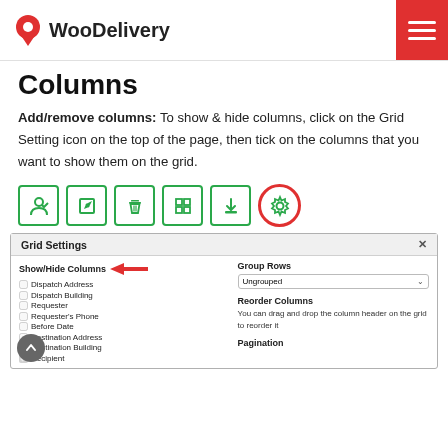WooDelivery
Columns
Add/remove columns: To show & hide columns, click on the Grid Setting icon on the top of the page, then tick on the columns that you want to show them on the grid.
[Figure (screenshot): Toolbar icons row with person, edit, delete, grid, download, and settings (gear) icons. The gear icon is highlighted with a red circle.]
[Figure (screenshot): Grid Settings panel showing Show/Hide Columns checkboxes (Dispatch Address, Dispatch Building, Requester, Requester's Phone, Before Date, Destination Address, Destination Building, Recipient) with a red arrow pointing to the section label, Group Rows dropdown set to Ungrouped, Reorder Columns description, and Pagination label.]